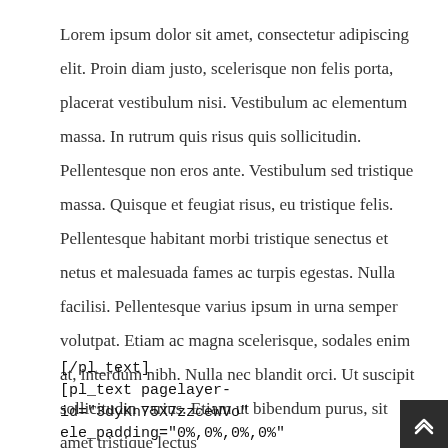Lorem ipsum dolor sit amet, consectetur adipiscing elit. Proin diam justo, scelerisque non felis porta, placerat vestibulum nisi. Vestibulum ac elementum massa. In rutrum quis risus quis sollicitudin. Pellentesque non eros ante. Vestibulum sed tristique massa. Quisque et feugiat risus, eu tristique felis. Pellentesque habitant morbi tristique senectus et netus et malesuada fames ac turpis egestas. Nulla facilisi. Pellentesque varius ipsum in urna semper volutpat. Etiam ac magna scelerisque, sodales enim at, interdum nibh. Nulla nec blandit orci. Ut suscipit sollicitudin varius. Etiam ut bibendum purus, sit amet tristique lectus
[/pl_text]
[pl_text pagelayer-id="3dyKn75X7zzceWVo" ele_padding="0%,0%,0%,0" animation="fadeInUp" animation_delay="800" animation_speed="slowest" hide_tablet="true"]